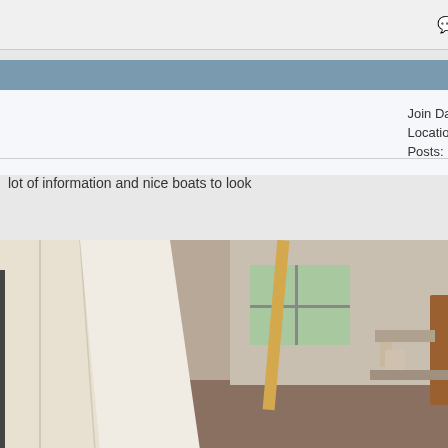Reply With Quote
#10
| Join Date: | Jul 2021 |
| Location: | Sveirge (Sweden) |
| Posts: | 415 |
lot of information and nice boats to look
[Figure (photo): Wooden boat hull or frame under construction in a workshop, showing planks and supports.]